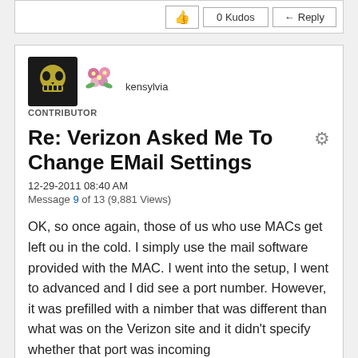[Figure (other): Top bar with 0 Kudos and Reply buttons]
[Figure (other): User avatar skull icon and flower decoration next to username kensylvia, CONTRIBUTOR label]
Re: Verizon Asked Me To Change EMail Settings
12-29-2011 08:40 AM
Message 9 of 13 (9,881 Views)
OK, so once again, those of us who use MACs get left ou in the cold.  I simply use the mail software provided with the MAC.  I went into the setup, I went to advanced and I did see a port number.  However, it was prefilled with a nimber that was different than what was on the Verizon site and it didn't specify whether that port was incoming